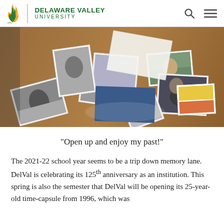Delaware Valley University
[Figure (photo): Scattered photographs and papers on a wooden table, including black and white photos and color photos showing people, nature scenes, greeting cards, and memorabilia.]
"Open up and enjoy my past!"
The 2021-22 school year seems to be a trip down memory lane. DelVal is celebrating its 125th anniversary as an institution. This spring is also the semester that DelVal will be opening its 25-year-old time-capsule from 1996, which was